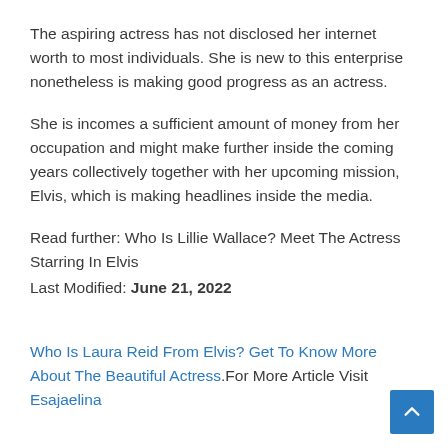The aspiring actress has not disclosed her internet worth to most individuals. She is new to this enterprise nonetheless is making good progress as an actress.
She is incomes a sufficient amount of money from her occupation and might make further inside the coming years collectively together with her upcoming mission, Elvis, which is making headlines inside the media.
Read further: Who Is Lillie Wallace? Meet The Actress Starring In Elvis
Last Modified: June 21, 2022
Who Is Laura Reid From Elvis? Get To Know More About The Beautiful Actress.For More Article Visit Esajaelina